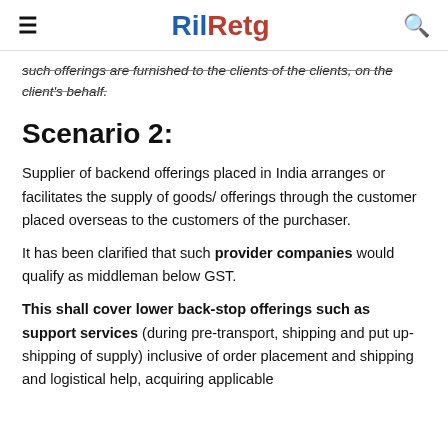RilRetg
such offerings are furnished to the clients of the clients, on the client's behalf.
Scenario 2:
Supplier of backend offerings placed in India arranges or facilitates the supply of goods/ offerings through the customer placed overseas to the customers of the purchaser.
It has been clarified that such provider companies would qualify as middleman below GST.
This shall cover lower back-stop offerings such as support services (during pre-transport, shipping and put up-shipping of supply) inclusive of order placement and shipping and logistical help, acquiring applicable